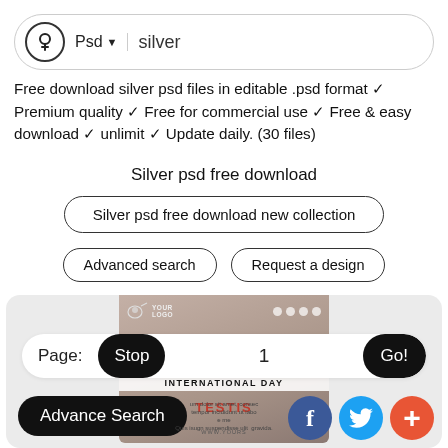[Figure (screenshot): Search bar with download icon, Psd dropdown, and silver search text]
Free download silver psd files in editable .psd format ✓ Premium quality ✓ Free for commercial use ✓ Free & easy download ✓ unlimit ✓ Update daily. (30 files)
Silver psd free download
Silver psd free download new collection
Advanced search
Request a design
[Figure (screenshot): Preview of a PSD template showing International Day design with logo, social icons, pagination bar with Stop/1/Go!, Advance Search button, and social media floating buttons (Facebook, Twitter, Plus)]